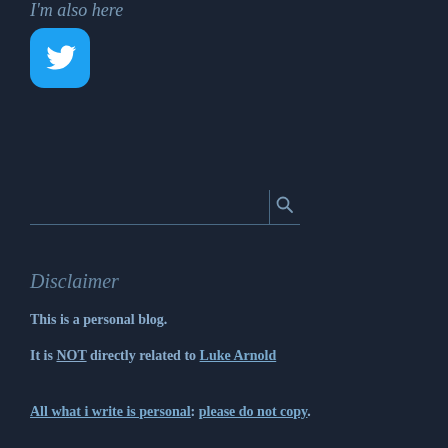I'm also here
[Figure (logo): Twitter bird logo in a blue rounded circle icon]
[Figure (other): Search bar with magnifying glass icon]
Disclaimer
This is a personal blog.
It is NOT directly related to Luke Arnold
All what i write is personal: please do not copy.